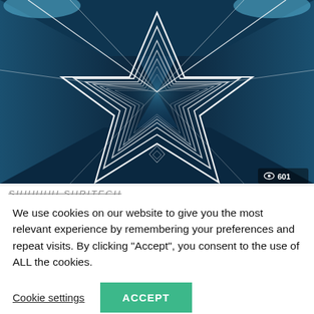[Figure (illustration): A dark sci-fi corridor with repeating neon-lit five-pointed star outlines receding into the distance, rendered in dark teal/blue tones with glowing white edges. A view counter showing an eye icon and '601' is visible in the bottom-right corner of the image.]
We use cookies on our website to give you the most relevant experience by remembering your preferences and repeat visits. By clicking “Accept”, you consent to the use of ALL the cookies.
Cookie settings   ACCEPT